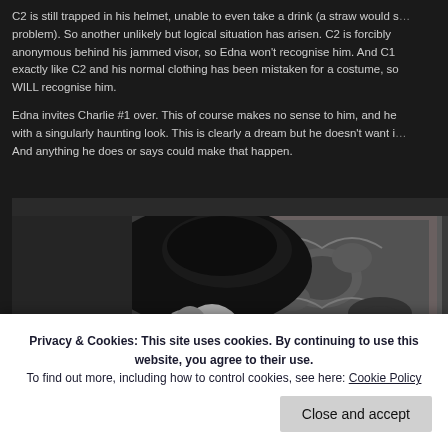C2 is still trapped in his helmet, unable to even take a drink (a straw would solve the problem). So another unlikely but logical situation has arisen. C2 is forcibly anonymous behind his jammed visor, so Edna won't recognise him. And C1 looks exactly like C2 and his normal clothing has been mistaken for a costume, so Edna WILL recognise him.
Edna invites Charlie #1 over. This of course makes no sense to him, and he responds with a singularly haunting look. This is clearly a dream but he doesn't want it to end. And anything he does or says could make that happen.
[Figure (photo): Black and white still from a silent film showing a woman with large dark hat and curly hair in profile, and Charlie Chaplin's character in the background with his distinctive mustache, set in an ornate interior.]
Privacy & Cookies: This site uses cookies. By continuing to use this website, you agree to their use. To find out more, including how to control cookies, see here: Cookie Policy